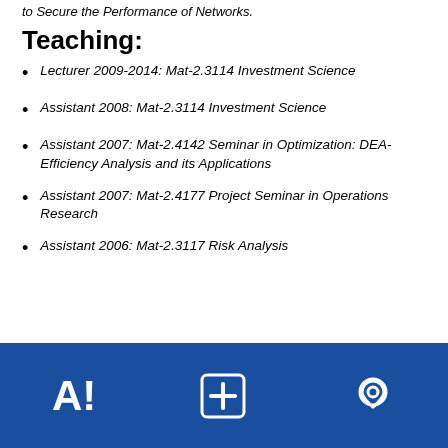to Secure the Performance of Networks.
Teaching:
Lecturer 2009-2014: Mat-2.3114 Investment Science
Assistant 2008: Mat-2.3114 Investment Science
Assistant 2007: Mat-2.4142 Seminar in Optimization: DEA-Efficiency Analysis and its Applications
Assistant 2007: Mat-2.4177 Project Seminar in Operations Research
Assistant 2006: Mat-2.3117 Risk Analysis
[Figure (logo): University footer bar with Aalto A! logo, plus/cross icon, and location pin icon on dark blue background]